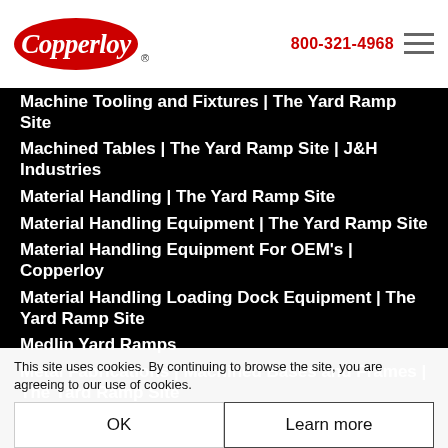Copperloy | 800-321-4968
Machine Tooling and Fixtures | The Yard Ramp Site
Machined Tables | The Yard Ramp Site | J&H Industries
Material Handling | The Yard Ramp Site
Material Handling Equipment | The Yard Ramp Site
Material Handling Equipment For OEM's | Copperloy
Material Handling Loading Dock Equipment | The Yard Ramp Site
Medlin Yard Ramps
Metal Fabrications | Machined Bases and Frames | The Yard Ramp Site
Metal Processing | Portable Lift Table | The Yard Ramp Site
Military / Defense / Aerospace / The Yard Ramp Site
Mining Industries and Custom Steel Fabrications | The
This site uses cookies. By continuing to browse the site, you are agreeing to our use of cookies.